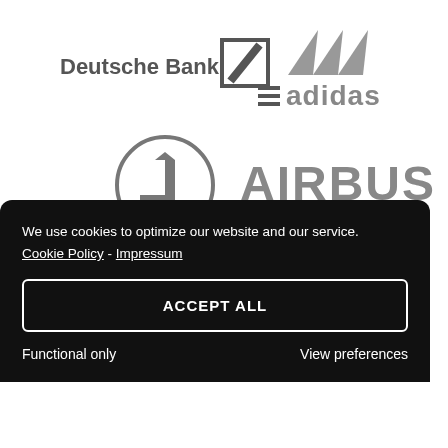[Figure (logo): Deutsche Bank logo with square slash icon]
[Figure (logo): Adidas logo with three stripes mountain icon and adidas text]
[Figure (logo): Das Erste ARD logo - number 1 in a circle]
[Figure (logo): AIRBUS logo in bold grey letters]
We use cookies to optimize our website and our service. Cookie Policy -  Impressum
ACCEPT ALL
Functional only
View preferences